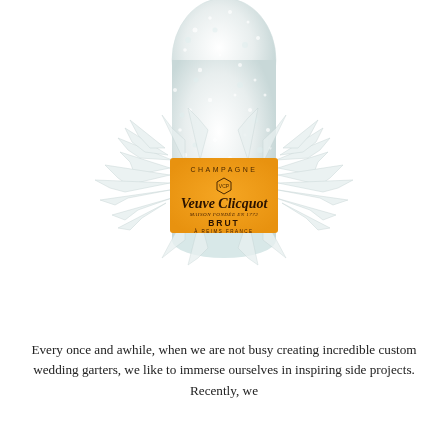[Figure (photo): A Veuve Clicquot Brut champagne bottle covered in white glittery foam/styrofoam with clear crystal or glass shards radiating outward around the label area. The bottle is set against a white background. The label is the iconic orange Veuve Clicquot label reading CHAMPAGNE, Veuve Clicquot, BRUT, A REIMS FRANCE.]
Every once and awhile, when we are not busy creating incredible custom wedding garters, we like to immerse ourselves in inspiring side projects. Recently, we